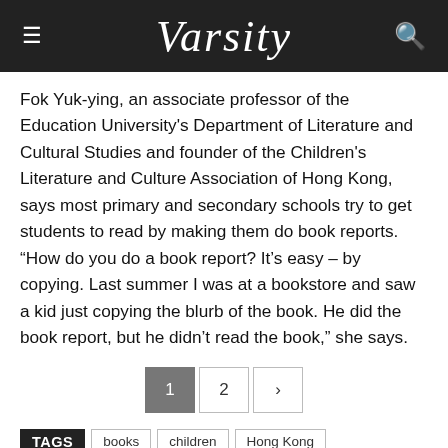Varsity
Fok Yuk-ying, an associate professor of the Education University's Department of Literature and Cultural Studies and founder of the Children's Literature and Culture Association of Hong Kong, says most primary and secondary schools try to get students to read by making them do book reports. “How do you do a book report? It’s easy – by copying. Last summer I was at a bookstore and saw a kid just copying the blurb of the book. He did the book report, but he didn't read the book,” she says.
1 2 >
TAGS books children Hong Kong parent child reading picture books reading